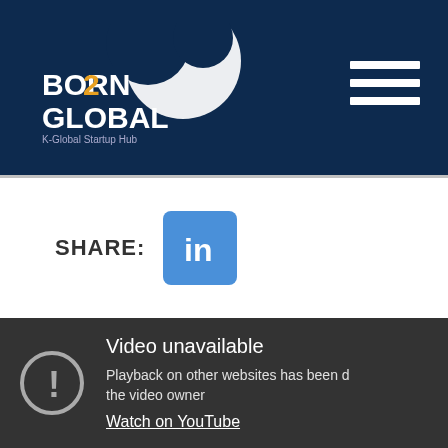[Figure (logo): Born2Global K-Global Startup Hub logo with navigation hamburger menu on dark navy background]
SHARE:
[Figure (other): LinkedIn share button icon]
[Figure (screenshot): YouTube embedded video showing error: Video unavailable. Playback on other websites has been disabled by the video owner. Watch on YouTube.]
Video unavailable
Playback on other websites has been disabled by the video owner
Watch on YouTube